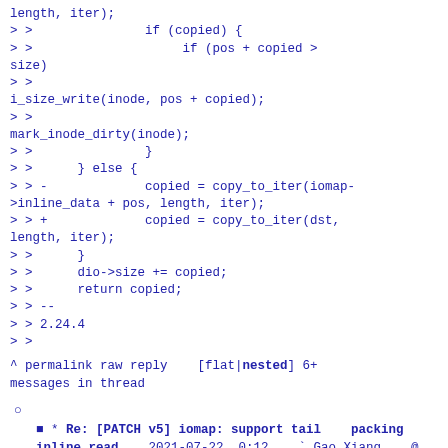length, iter);
> >                if (copied) {
> >                     if (pos + copied > size)
> >
i_size_write(inode, pos + copied);
> >
mark_inode_dirty(inode);
> >                }
> >      } else {
> > -              copied = copy_to_iter(iomap->inline_data + pos, length, iter);
> > +              copied = copy_to_iter(dst, length, iter);
> >      }
> >      dio->size += copied;
> >      return copied;
> > --
> > 2.24.4
> >
^ permalink raw reply   [flat|nested] 6+ messages in thread
o
* Re: [PATCH v5] iomap: support tail packing inline read
2021-07-22  0:12  ` Gao Xiang
@ 2021-07-22  0:19  ` Darrick J. Wong